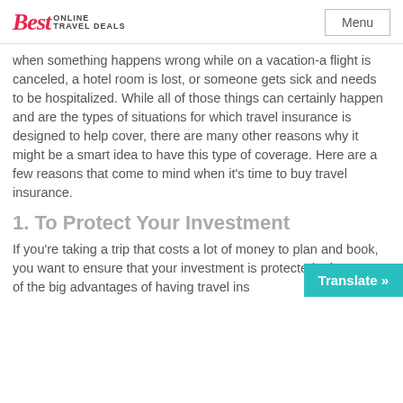Best ONLINE TRAVEL DEALS | Menu
when something happens wrong while on a vacation-a flight is canceled, a hotel room is lost, or someone gets sick and needs to be hospitalized. While all of those things can certainly happen and are the types of situations for which travel insurance is designed to help cover, there are many other reasons why it might be a smart idea to have this type of coverage. Here are a few reasons that come to mind when it’s time to buy travel insurance.
1. To Protect Your Investment
If you’re taking a trip that costs a lot of money to plan and book, you want to ensure that your investment is protected. That’s one of the big advantages of having travel ins…